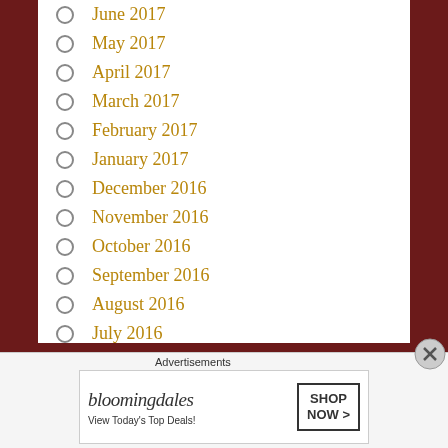June 2017
May 2017
April 2017
March 2017
February 2017
January 2017
December 2016
November 2016
October 2016
September 2016
August 2016
July 2016
June 2016
[Figure (other): Bloomingdale's advertisement banner with 'View Today's Top Deals!' and 'SHOP NOW >' button]
Advertisements